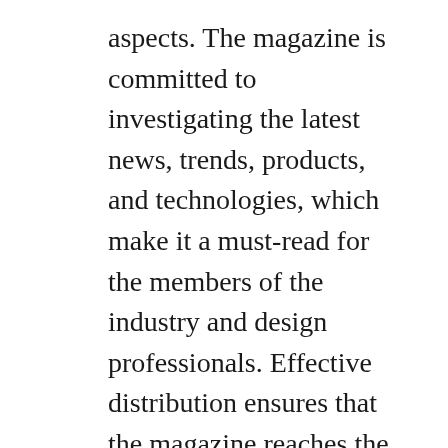aspects. The magazine is committed to investigating the latest news, trends, products, and technologies, which make it a must-read for the members of the industry and design professionals. Effective distribution ensures that the magazine reaches the target audience, providing a cost-effective advertising platform for suppliers who cater to this continuously growing segment.
After years of publishing magazines specific to the façade and fenestration industry, we realized that it was near impossible for the print version to cover the vast information on the industry. Such is the information explosion, which leads us to initiate our work on a digital platform.